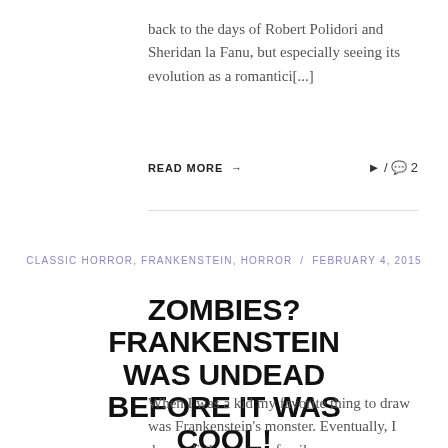back to the days of Robert Polidori and Sheridan la Fanu, but especially seeing its evolution as a romantici[...]
READ MORE → ➤ / 💬 2
CLASSIC HORROR, FRANKENSTEIN, HORROR / FEBRUARY 4, 2015
ZOMBIES? FRANKENSTEIN WAS UNDEAD BEFORE IT WAS COOL!
When I was a kid my favorite thing to draw was Frankenstein's monster. Eventually, I drew a little monster family,